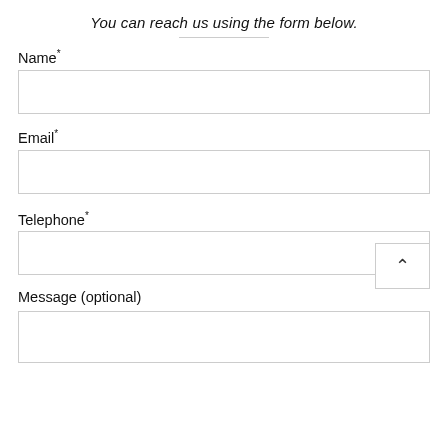You can reach us using the form below.
Name*
Email*
Telephone*
Message (optional)